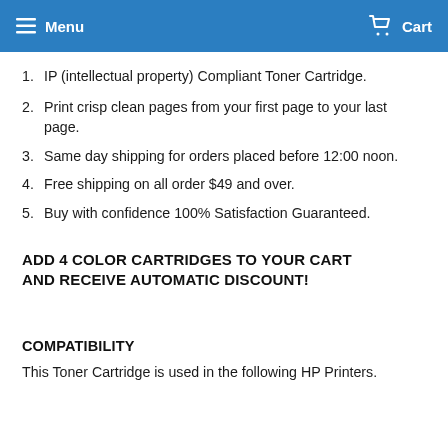Menu  Cart
1. IP (intellectual property) Compliant Toner Cartridge.
2. Print crisp clean pages from your first page to your last page.
3. Same day shipping for orders placed before 12:00 noon.
4. Free shipping on all order $49 and over.
5. Buy with confidence 100% Satisfaction Guaranteed.
ADD 4 COLOR CARTRIDGES TO YOUR CART AND RECEIVE AUTOMATIC DISCOUNT!
COMPATIBILITY
This Toner Cartridge is used in the following HP Printers.